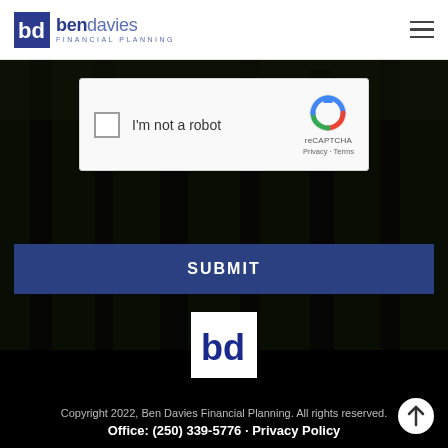ben davies FINANCIAL PLANNING
[Figure (screenshot): reCAPTCHA widget with checkbox labeled I'm not a robot and reCAPTCHA logo with Privacy and Terms links]
SUBMIT
[Figure (logo): Ben Davies Financial Planning bd logo mark in white square on black footer background]
Copyright 2022, Ben Davies Financial Planning. All rights reserved. Office: (250) 339-5776 · Privacy Policy